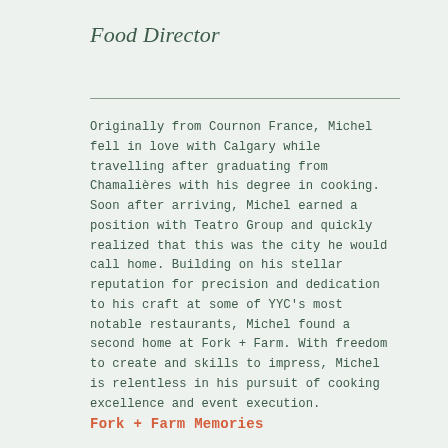Food Director
Originally from Cournon France, Michel fell in love with Calgary while travelling after graduating from Chamalières with his degree in cooking. Soon after arriving, Michel earned a position with Teatro Group and quickly realized that this was the city he would call home. Building on his stellar reputation for precision and dedication to his craft at some of YYC's most notable restaurants, Michel found a second home at Fork + Farm. With freedom to create and skills to impress, Michel is relentless in his pursuit of cooking excellence and event execution.
Fork + Farm Memories